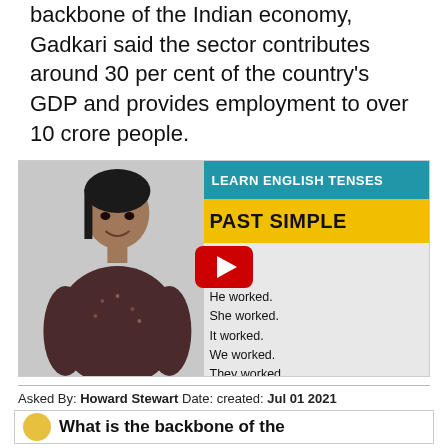backbone of the Indian economy, Gadkari said the sector contributes around 30 per cent of the country's GDP and provides employment to over 10 crore people.
[Figure (screenshot): YouTube video thumbnail showing a woman instructor with text 'LEARN ENGLISH TENSES / PAST SIMPLE' and example sentences: ked. worked. He worked. She worked. It worked. We worked. They worked. A YouTube play button is overlaid in the center.]
Asked By: Howard Stewart Date: created: Jul 01 2021
What is the backbone of the